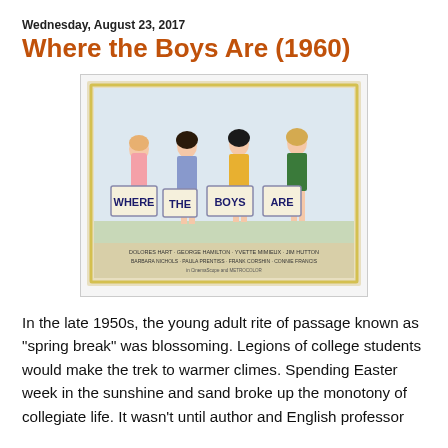Wednesday, August 23, 2017
Where the Boys Are (1960)
[Figure (photo): Movie poster for 'Where the Boys Are' (1960) showing four young women walking and holding signs that spell out WHERE THE BOYS ARE. Credits at the bottom list Dolores Hart, George Hamilton, Yvette Mimieux, Jim Hutton, Barbara Nichols, Paula Prentiss, Frank Corshin, Connie Francis.]
In the late 1950s, the young adult rite of passage known as "spring break" was blossoming. Legions of college students would make the trek to warmer climes. Spending Easter week in the sunshine and sand broke up the monotony of collegiate life. It wasn't until author and English professor